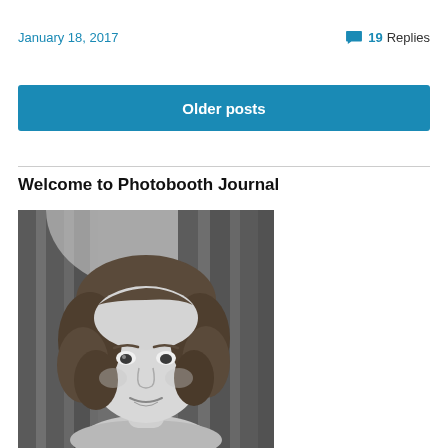January 18, 2017
19 Replies
Older posts
Welcome to Photobooth Journal
[Figure (photo): Black and white photobooth portrait of a young woman with curly/wavy medium-length hair, looking slightly to one side, with a curtained background]